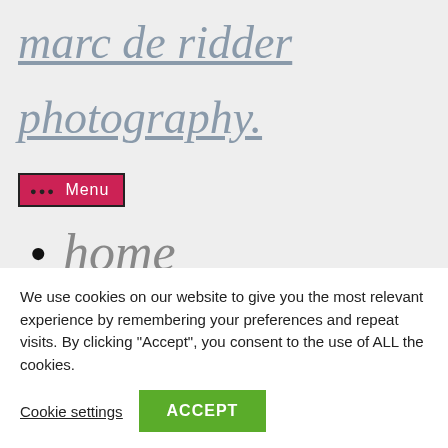marc de ridder
photography.
••• Menu
home
We use cookies on our website to give you the most relevant experience by remembering your preferences and repeat visits. By clicking “Accept”, you consent to the use of ALL the cookies.
Cookie settings   ACCEPT